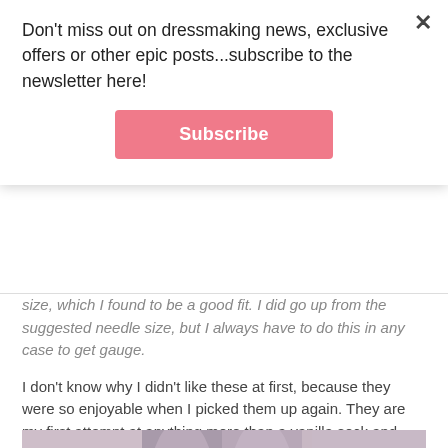Don't miss out on dressmaking news, exclusive offers or other epic posts...subscribe to the newsletter here!
Subscribe
size, which I found to be a good fit. I did go up from the suggested needle size, but I always have to do this in any case to get gauge.
I don't know why I didn't like these at first, because they were so enjoyable when I picked them up again. They are my first attempt at anything more than a vanilla sock and now I can see why patterned designs are so popular. The only thing stopping me from casting on a second pair is that I want to try out so many of the other patterns!
[Figure (photo): Close-up photograph of patterned knitted socks in grey/mauve colour, showing the textured knit pattern detail with two socks side by side held up against a light background.]